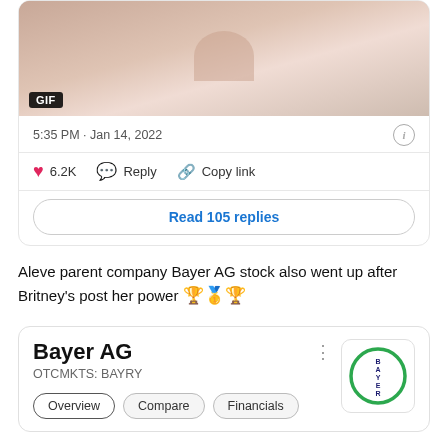[Figure (photo): GIF image showing a person, cropped, with a GIF badge in the lower left corner]
5:35 PM · Jan 14, 2022
6.2K   Reply   Copy link
Read 105 replies
Aleve parent company Bayer AG stock also went up after Britney's post her power 🏆🏆
[Figure (logo): Bayer AG stock card with company name, ticker OTCMKTS: BAYRY, navigation tabs (Overview, Compare, Financials), and circular Bayer logo]